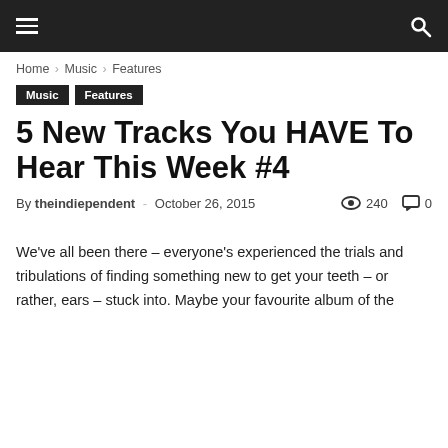Navigation bar with hamburger menu and search icon
Home › Music › Features
Music  Features
5 New Tracks You HAVE To Hear This Week #4
By theindiependent - October 26, 2015  240  0
We've all been there – everyone's experienced the trials and tribulations of finding something new to get your teeth – or rather, ears – stuck into. Maybe your favourite album of the